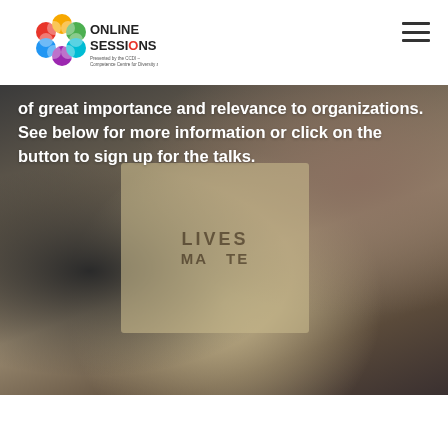[Figure (logo): Online Sessions logo — colorful hexagonal/bubble cluster icon with text 'ONLINE SESSIONS Presented by the CCDI – Competence Centre for Diversity and Inclusion']
[Figure (photo): Blurred background photo of protest with people holding a 'LIVES MATTER' sign, dark and muted tones]
of great importance and relevance to organizations. See below for more information or click on the button to sign up for the talks.